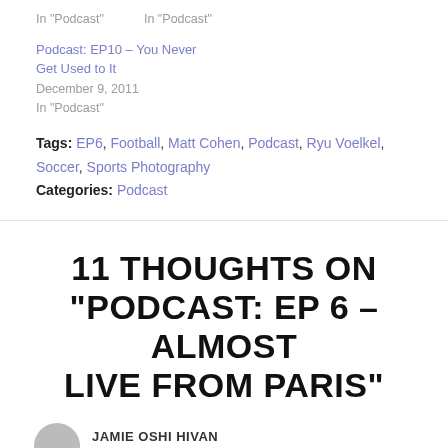In "Podcast"
In "Podcast"
Podcast: EP10 – You Never Get Used to It
December 9, 2011
In "Podcast"
Tags: EP6, Football, Matt Cohen, Podcast, Ryu Voelkel, Soccer, Sports Photography
Categories: Podcast
11 THOUGHTS ON "PODCAST: EP 6 – ALMOST LIVE FROM PARIS"
JAMIE OSHI HIVAN